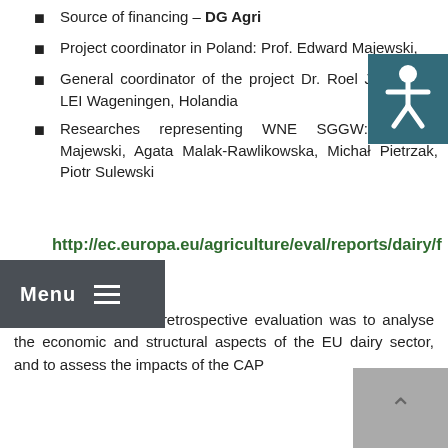Source of financing – DG Agri
Project coordinator in Poland: Prof. Edward Majewski,
General coordinator of the project Dr. Roel Jongeneel, LEI Wageningen, Holandia
Researches representing WNE SGGW: Edward Majewski, Agata Malak-Rawlikowska, Michał Pietrzak, Piotr Sulewski
http://ec.europa.eu/agriculture/eval/reports/dairy/fulltext_en.pdf
The objective of this retrospective evaluation was to analyse the economic and structural aspects of the EU dairy sector, and to assess the impacts of the CAP